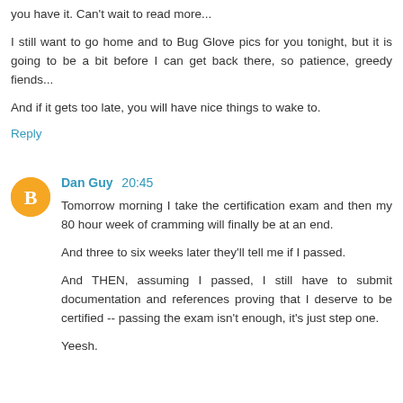you have it. Can't wait to read more...
I still want to go home and to Bug Glove pics for you tonight, but it is going to be a bit before I can get back there, so patience, greedy fiends...
And if it gets too late, you will have nice things to wake to.
Reply
Dan Guy  20:45
Tomorrow morning I take the certification exam and then my 80 hour week of cramming will finally be at an end.
And three to six weeks later they'll tell me if I passed.
And THEN, assuming I passed, I still have to submit documentation and references proving that I deserve to be certified -- passing the exam isn't enough, it's just step one.
Yeesh.